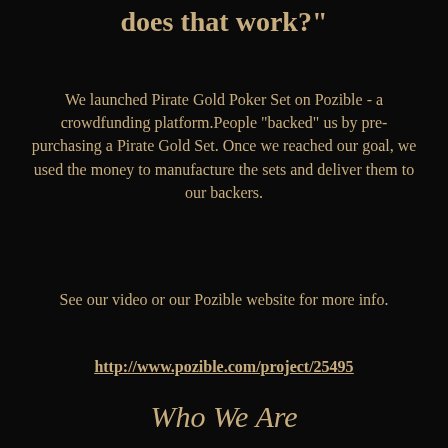does that work?"
We launched Pirate Gold Poker Set on Pozible - a crowdfunding platform.People "backed" us by pre-purchasing a Pirate Gold Set. Once we reached our goal, we used the money to manufacture the sets and deliver them to our backers.
See our video or our Pozible website for more info.
http://www.pozible.com/project/25495
Who We Are